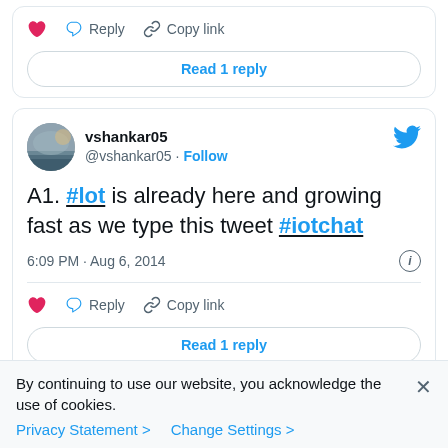[Figure (screenshot): Top partial tweet card showing action row with heart icon, Reply button, Copy link button, and Read 1 reply button]
[Figure (screenshot): Full tweet card from vshankar05 (@vshankar05) with Follow link and Twitter bird icon. Tweet text: A1. #lot is already here and growing fast as we type this tweet #iotchat. Timestamp: 6:09 PM · Aug 6, 2014. Action row with heart, Reply, Copy link. Read 1 reply button.]
By continuing to use our website, you acknowledge the use of cookies.
Privacy Statement > Change Settings >